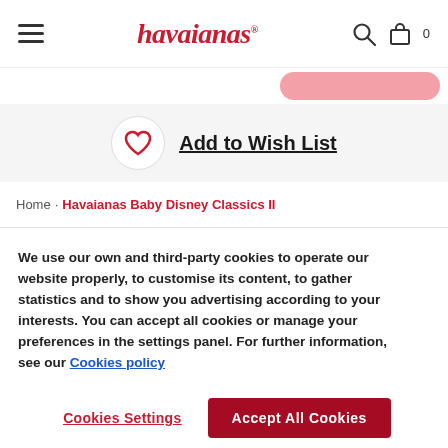havaianas® — hamburger menu, search icon, bag icon with 0
[Figure (screenshot): Havaianas logo in red italic serif font with registered trademark symbol]
Add to Wish List
Home · Havaianas Baby Disney Classics II
We use our own and third-party cookies to operate our website properly, to customise its content, to gather statistics and to show you advertising according to your interests. You can accept all cookies or manage your preferences in the settings panel. For further information, see our Cookies policy
Cookies Settings
Accept All Cookies